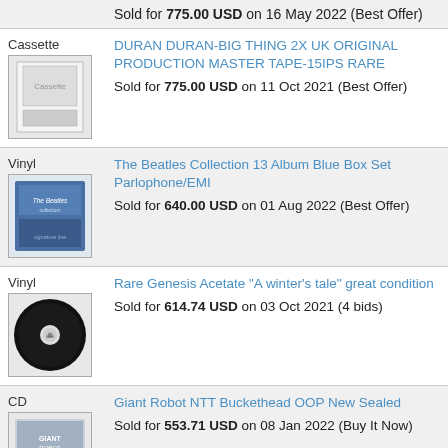Sold for 775.00 USD on 16 May 2022 (Best Offer)
Cassette
[Figure (photo): Cassette tape with paper documentation photo thumbnail]
DURAN DURAN-BIG THING 2X UK ORIGINAL PRODUCTION MASTER TAPE-15IPS RARE
Sold for 775.00 USD on 11 Oct 2021 (Best Offer)
Vinyl
[Figure (photo): The Beatles Collection 13 Album Blue Box Set vinyl album photo thumbnail]
The Beatles Collection 13 Album Blue Box Set Parlophone/EMI
Sold for 640.00 USD on 01 Aug 2022 (Best Offer)
Vinyl
[Figure (photo): Vinyl record single photo thumbnail]
Rare Genesis Acetate "A winter's tale" great condition
Sold for 614.74 USD on 03 Oct 2021 (4 bids)
CD
[Figure (photo): Giant Robot NTT Buckethead CD cover photo thumbnail]
Giant Robot NTT Buckethead OOP New Sealed
Sold for 553.71 USD on 08 Jan 2022 (Buy It Now)